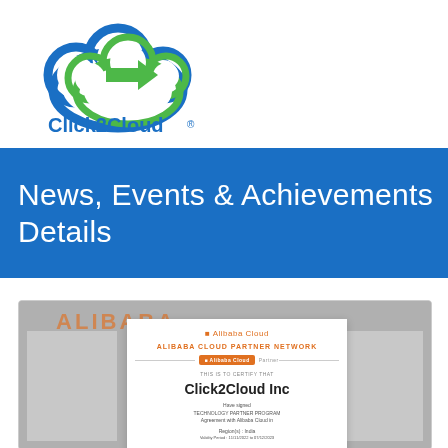[Figure (logo): Click2Cloud logo — a cloud shape with a green arrow, colored in blue and green gradient, with text 'Click2Cloud' below in blue and a registered trademark symbol]
News, Events & Achievements Details
[Figure (photo): Certificate from Alibaba Cloud Partner Network awarded to Click2Cloud Inc for signing Technology Partner Program Agreement with Alibaba Cloud in India. Shows the certificate card centered with blurred background showing 'ALIBABA CLOUD PARTNER NETWORK' watermark text in orange.]